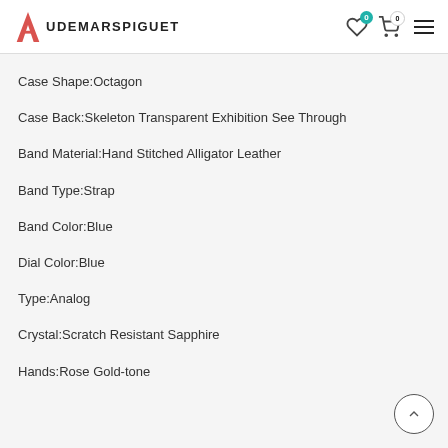AUDEMARSPIGUET
Case Shape:Octagon
Case Back:Skeleton Transparent Exhibition See Through
Band Material:Hand Stitched Alligator Leather
Band Type:Strap
Band Color:Blue
Dial Color:Blue
Type:Analog
Crystal:Scratch Resistant Sapphire
Hands:Rose Gold-tone